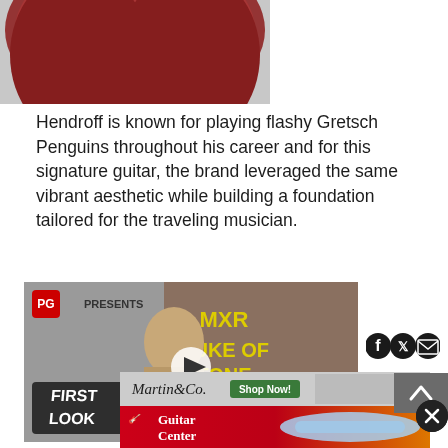[Figure (photo): Partial view of a red/cherry Gretsch guitar body from above]
Hendroff is known for playing flashy Gretsch Penguins throughout his career and for this signature guitar, the brand leveraged the same vibrant aesthetic while building a foundation tailored for the traveling musician.
[Figure (screenshot): Video thumbnail: PG Presents First Look - MXR Duke of Tone. Shows a person with blonde hair holding a guitar, with play button overlay. Social share icons (Facebook, Twitter, Email) to the right.]
[Figure (photo): Advertisement banner: Martin & Co. guitar brand logo with Shop Now button and guitar image]
[Figure (photo): Advertisement banner: Guitar Center logo with light blue electric guitar on orange/yellow background]